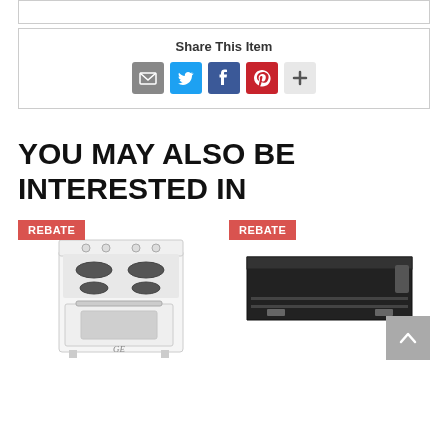Share This Item
[Figure (infographic): Social sharing icons: email (grey), Twitter (blue), Facebook (blue), Pinterest (red), plus/more (light grey)]
YOU MAY ALSO BE INTERESTED IN
[Figure (photo): Product card with red REBATE badge. White GE electric range/stove with coil burners and oven window.]
[Figure (photo): Product card with red REBATE badge. Black under-cabinet range hood ventilation unit.]